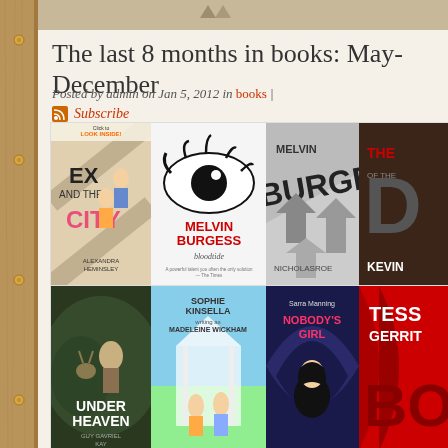The last 8 months in books: May-December
Posted by admin on Jan 5, 2012 in books |
Subscribe
[Figure (photo): Grid of book covers including: Ex and the City by Alexandra Heminsley, Bloodtide by Melvin Burgess (with eye cover), Melvin Burgess book with arrows, The D... by Kevin (partially visible), Under Heaven by Guy Gavriel Kay, Sophie Kinsella writing as Madeleine Wickham book, Nobody's Girl by Sarra Manning, Tess Gerrit... Bo... (partially visible)]